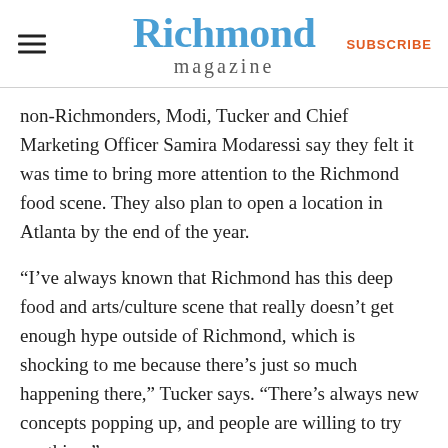Richmond magazine | SUBSCRIBE
non-Richmonders, Modi, Tucker and Chief Marketing Officer Samira Modaressi say they felt it was time to bring more attention to the Richmond food scene. They also plan to open a location in Atlanta by the end of the year.
“I’ve always known that Richmond has this deep food and arts/culture scene that really doesn’t get enough hype outside of Richmond, which is shocking to me because there’s just so much happening there,” Tucker says. “There’s always new concepts popping up, and people are willing to try anything.”
Tenants have the choice between a six-, nine- or 12-month rental contract and are offered a variety of services, such as monthly financial reporting, onboarding assistance, an